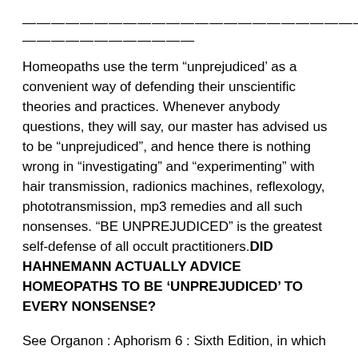——————————————————————————————————————————————————
Homeopaths use the term “unprejudiced’ as a convenient way of defending their unscientific theories and practices. Whenever anybody questions, they will say, our master has advised us to be “unprejudiced”, and hence there is nothing wrong in “investigating” and “experimenting” with hair transmission, radionics machines, reflexology, phototransmission, mp3 remedies and all such nonsenses. “BE UNPREJUDICED” is the greatest self-defense of all occult practitioners.DID HAHNEMANN ACTUALLY ADVICE HOMEOPATHS TO BE ‘UNPREJUDICED’ TO EVERY NONSENSE?
See Organon : Aphorism 6 : Sixth Edition, in which